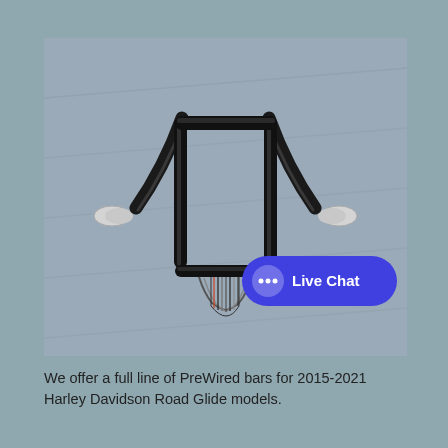[Figure (photo): Motorcycle handlebars (ape hanger style, black finish) with pre-wired cables visible at the bottom center, photographed on a gray metallic surface. A blue 'Live Chat' button overlay appears in the lower right of the image.]
We offer a full line of PreWired bars for 2015-2021 Harley Davidson Road Glide models.